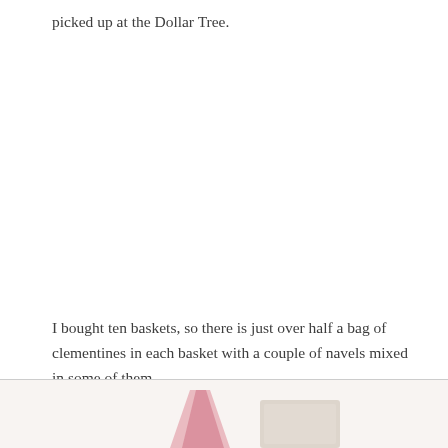picked up at the Dollar Tree.
I bought ten baskets, so there is just over half a bag of clementines in each basket with a couple of navels mixed in some of them.
[Figure (photo): Partial view of what appears to be a bag or packaging item, pink/red colored, with a light-colored rectangular object beside it, visible at the bottom of the page.]